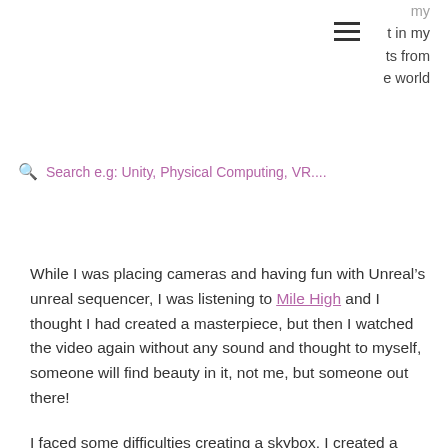t in my
ts from
e world
Search e.g: Unity, Physical Computing, VR....
While I was placing cameras and having fun with Unreal’s unreal sequencer, I was listening to Mile High and I thought I had created a masterpiece, but then I watched the video again without any sound and thought to myself, someone will find beauty in it, not me, but someone out there!
I faced some difficulties creating a skybox. I created a sphere on blender and imported it as a .fbx file on Unreal, but I still need to figure out what to look for in a sky image that would fit and create a sky-looking environment. I